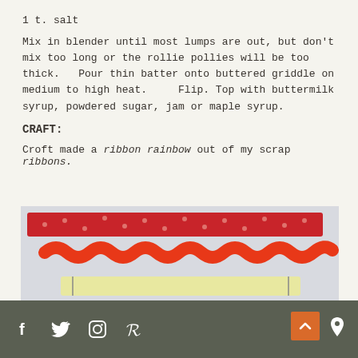1 t. salt
Mix in blender until most lumps are out, but don't mix too long or the rollie pollies will be too thick.   Pour thin batter onto buttered griddle on medium to high heat.    Flip. Top with buttermilk syrup, powdered sugar, jam or maple syrup.
CRAFT:
Croft made a ribbon rainbow out of my scrap ribbons.
[Figure (photo): Photo of a ribbon rainbow craft: several strips of ribbon arranged horizontally on a white surface — a red dotted ribbon, an orange rick-rack ribbon, a pale yellow ribbon, and a light green ribbon. A blue stripe is visible at the bottom edge.]
Social media icons: Facebook, Twitter, Instagram, Pinterest. Scroll-to-top button and location pin icon.